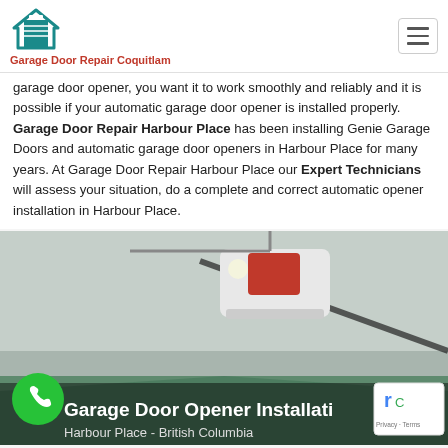Garage Door Repair Coquitlam
garage door opener, you want it to work smoothly and reliably and it is possible if your automatic garage door opener is installed properly. Garage Door Repair Harbour Place has been installing Genie Garage Doors and automatic garage door openers in Harbour Place for many years. At Garage Door Repair Harbour Place our Expert Technicians will assess your situation, do a complete and correct automatic opener installation in Harbour Place.
[Figure (photo): Photo of a garage door opener mounted on ceiling of a garage, with a green phone call button overlay and text overlay reading 'Garage Door Opener Installation — Harbour Place - British Columbia'. A reCAPTCHA badge appears in the lower right corner.]